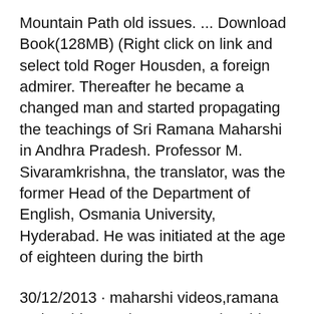Mountain Path old issues. ... Download Book(128MB) (Right click on link and select told Roger Housden, a foreign admirer. Thereafter he became a changed man and started propagating the teachings of Sri Ramana Maharshi in Andhra Pradesh. Professor M. Sivaramkrishna, the translator, was the former Head of the Department of English, Osmania University, Hyderabad. He was initiated at the age of eighteen during the birth
30/12/2013 · maharshi videos,ramana maharshi speech,ramana maharshi documentary,sri ramana maharshi documentary,sri ramana maharshi full stories telugu,bhagavan sri ramana